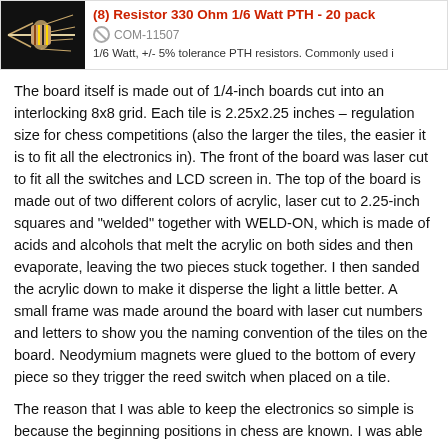[Figure (other): Product listing banner showing a resistor component image on the left, product title '(8) Resistor 330 Ohm 1/6 Watt PTH - 20 pack' in red, SKU 'COM-11507', and partial description '1/6 Watt, +/- 5% tolerance PTH resistors. Commonly used i...']
The board itself is made out of 1/4-inch boards cut into an interlocking 8x8 grid. Each tile is 2.25x2.25 inches – regulation size for chess competitions (also the larger the tiles, the easier it is to fit all the electronics in). The front of the board was laser cut to fit all the switches and LCD screen in. The top of the board is made out of two different colors of acrylic, laser cut to 2.25-inch squares and "welded" together with WELD-ON, which is made of acids and alcohols that melt the acrylic on both sides and then evaporate, leaving the two pieces stuck together. I then sanded the acrylic down to make it disperse the light a little better. A small frame was made around the board with laser cut numbers and letters to show you the naming convention of the tiles on the board. Neodymium magnets were glued to the bottom of every piece so they trigger the reed switch when placed on a tile.
The reason that I was able to keep the electronics so simple is because the beginning positions in chess are known. I was able to write code to keep track of where everything started, and since (in most cases) a move consists of taking one piece off and putting that piece somewhere else, it was easy to keep track of where everything was on the board. I did not code in the full rules of...